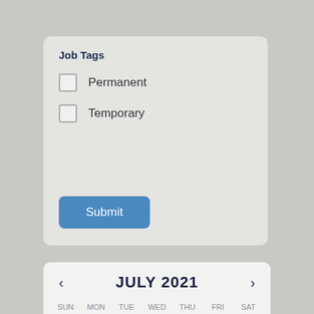Job Tags
Permanent
Temporary
Submit
[Figure (other): Calendar widget showing July 2021 with navigation arrows, day headers (SUN MON TUE WED THU FRI SAT), and first row showing dates 27, 28, 29, 30 (greyed out from prev month), and 01, 02, 03 (highlighted in gray circles).]